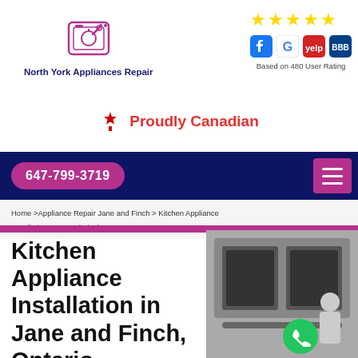[Figure (logo): North York Appliances Repair logo with wrench/washer icon in pink/magenta outline]
North York Appliances Repair
[Figure (infographic): Five gold stars and social media icons (Facebook, Google, Yelp, BBB)]
Based on 480 User Rating
🍁  Proudly Canadian
647-799-3719
Home >Appliance Repair Jane and Finch > Kitchen Appliance Installation Jane and Finch
Kitchen Appliance Installation in Jane and Finch, Ontario
[Figure (photo): Technician installing or inspecting a stainless steel oven/range appliance]